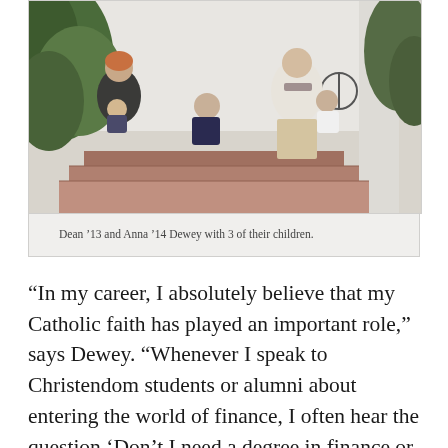[Figure (photo): Family photo of Dean '13 and Anna '14 Dewey sitting on porch steps with 3 of their children. Adults and children are casually posed outdoors in front of a white house with foliage visible on left.]
Dean '13 and Anna '14 Dewey with 3 of their children.
“In my career, I absolutely believe that my Catholic faith has played an important role,” says Dewey. “Whenever I speak to Christendom students or alumni about entering the world of finance, I often hear the question ‘Don’t I need a degree in finance or business?’ No—a degree in finance may open up a door or two right out of college, but what really allows you to climb ladders is the ability to critically